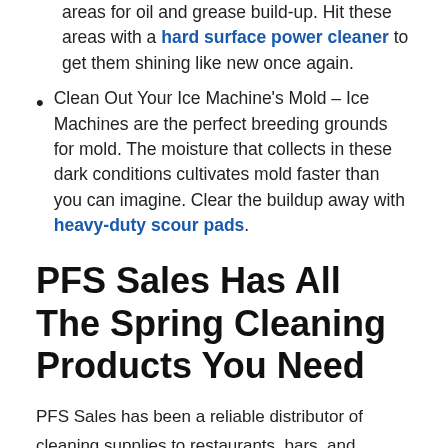areas for oil and grease build-up. Hit these areas with a hard surface power cleaner to get them shining like new once again.
Clean Out Your Ice Machine’s Mold – Ice Machines are the perfect breeding grounds for mold. The moisture that collects in these dark conditions cultivates mold faster than you can imagine. Clear the buildup away with heavy-duty scour pads.
PFS Sales Has All The Spring Cleaning Products You Need
PFS Sales has been a reliable distributor of cleaning supplies to restaurants, bars, and caterers for over 30 years. Our mission is to provide your business with every tool it needs to help increase your profits, satisfy your customers, and make your business a success, which is why our catalog of cleaning supplies has everything you could possibly need to whip your business into shape for the spring season. If you have any questions about a specific product, please